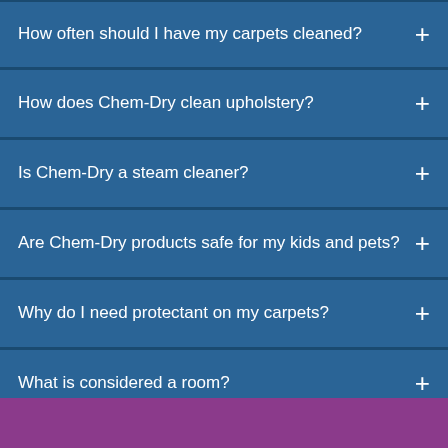How often should I have my carpets cleaned?
How does Chem-Dry clean upholstery?
Is Chem-Dry a steam cleaner?
Are Chem-Dry products safe for my kids and pets?
Why do I need protectant on my carpets?
What is considered a room?
[Figure (photo): Close-up photo of fluffy white carpet or fabric texture]